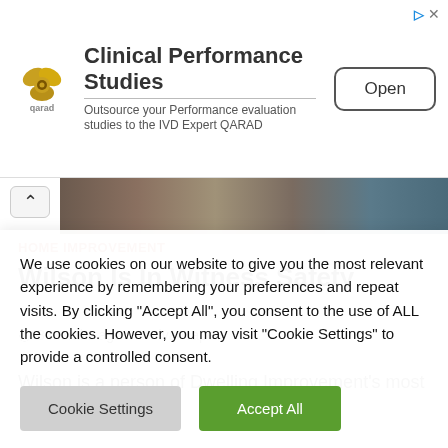[Figure (logo): QARAD logo with golden circular shapes and text 'qarad']
Clinical Performance Studies
Outsource your Performance evaluation studies to the IVD Expert QARAD
Open
[Figure (photo): Partial photo strip showing a person in plaid shirt]
HOME IMPROVEMENT
Wilson Is In Witness Safety
3 months ago   ivancapers
Wilson is a person of Dwelling Improvement's most
We use cookies on our website to give you the most relevant experience by remembering your preferences and repeat visits. By clicking "Accept All", you consent to the use of ALL the cookies. However, you may visit "Cookie Settings" to provide a controlled consent.
Cookie Settings
Accept All